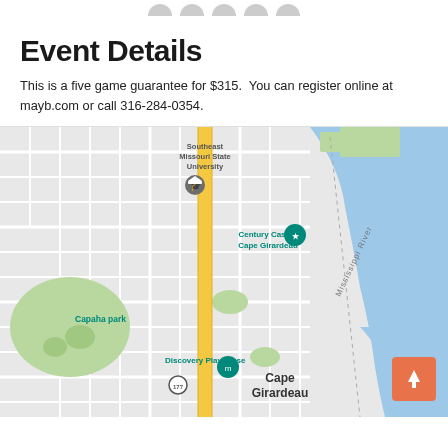Event Details
This is a five game guarantee for $315.  You can register online at mayb.com or call 316-284-0354.
[Figure (map): Google Maps view of Cape Girardeau, Missouri showing Southeast Missouri State University, Century Casino Cape Girardeau, Capaha park, Discovery Playhouse, and the Mississippi River. A yellow road (highway) runs vertically through the center. The Mississippi River appears in blue on the right side. Route 177 is labeled at the bottom.]